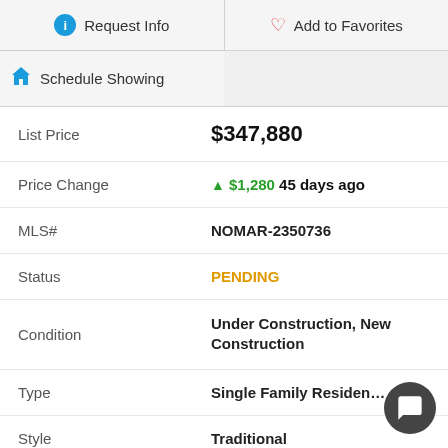Request Info
Add to Favorites
Schedule Showing
| List Price | $347,880 |
| Price Change | ▲ $1,280 45 days ago |
| MLS# | NOMAR-2350736 |
| Status | PENDING |
| Condition | Under Construction, New Construction |
| Type | Single Family Residence |
| Style | Traditional |